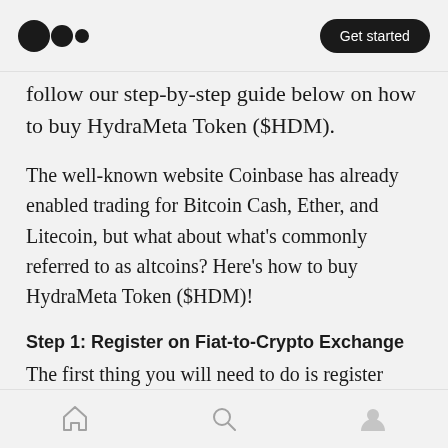Medium logo | Get started
follow our step-by-step guide below on how to buy HydraMeta Token ($HDM).
The well-known website Coinbase has already enabled trading for Bitcoin Cash, Ether, and Litecoin, but what about what's commonly referred to as altcoins? Here's how to buy HydraMeta Token ($HDM)!
Step 1: Register on Fiat-to-Crypto Exchange
The first thing you will need to do is register with one of the many exchanges that allow fiat-to-crypto purchases. You can buy cryptocurrency
Home | Search | Profile